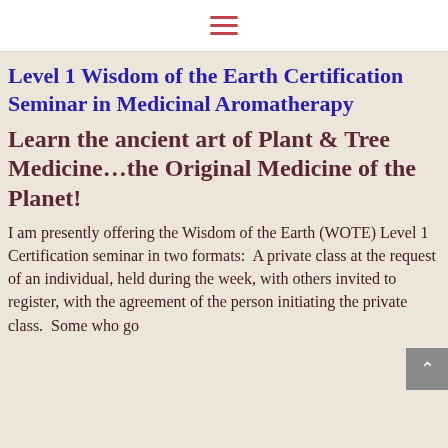≡
Level 1 Wisdom of the Earth Certification Seminar in Medicinal Aromatherapy
Learn the ancient art of Plant & Tree Medicine…the Original Medicine of the Planet!
I am presently offering the Wisdom of the Earth (WOTE) Level 1 Certification seminar in two formats:  A private class at the request of an individual, held during the week, with others invited to register, with the agreement of the person initiating the private class.  Some who go